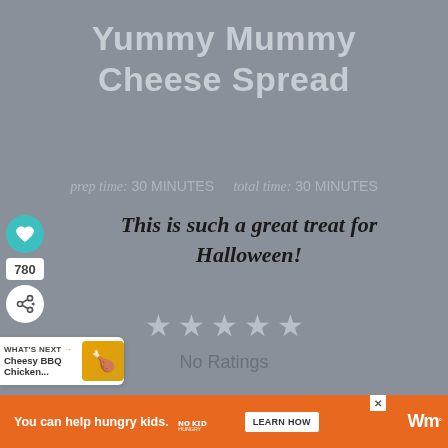Yummy Mummy Cheese Spread
prep time: 30 MINUTES   total time: 30 MINUTES
This is such a great treat for Halloween!
No Ratings
WHAT'S NEXT → Cheesy BBQ Chicken...
You can help hungry kids.
LEARN HOW